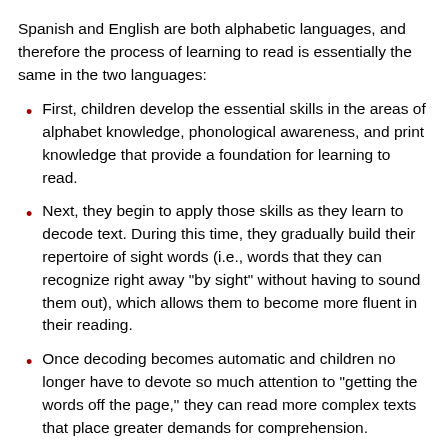Spanish and English are both alphabetic languages, and therefore the process of learning to read is essentially the same in the two languages:
First, children develop the essential skills in the areas of alphabet knowledge, phonological awareness, and print knowledge that provide a foundation for learning to read.
Next, they begin to apply those skills as they learn to decode text. During this time, they gradually build their repertoire of sight words (i.e., words that they can recognize right away "by sight" without having to sound them out), which allows them to become more fluent in their reading.
Once decoding becomes automatic and children no longer have to devote so much attention to "getting the words off the page," they can read more complex texts that place greater demands for comprehension.
The primary difference between Spanish and English reading development and instruction occurs during the period in which children are learning to decode text. This is because of